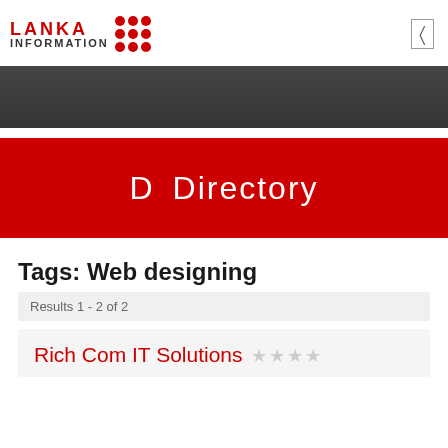LANKA INFORMATION
[Figure (photo): Dark hero image of camera equipment]
D  Directory
Tags: Web designing
Results 1 - 2 of 2
Rich Com IT Solutions